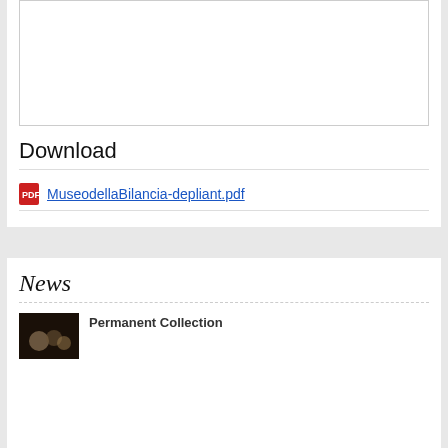[Figure (photo): White blank image placeholder with thin border]
Download
MuseodellaBilancia-depliant.pdf
News
Permanent Collection